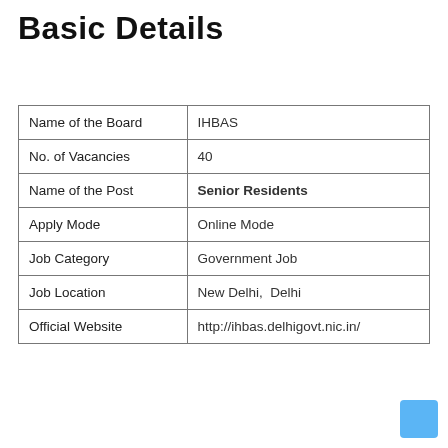Basic Details
| Name of the Board | IHBAS |
| No. of Vacancies | 40 |
| Name of the Post | Senior Residents |
| Apply Mode | Online Mode |
| Job Category | Government Job |
| Job Location | New Delhi,  Delhi |
| Official Website | http://ihbas.delhigovt.nic.in/ |